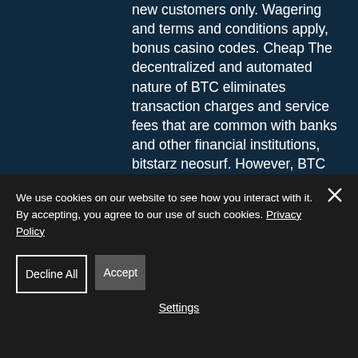new customers only. Wagering and terms and conditions apply, bonus casino codes. Cheap The decentralized and automated nature of BTC eliminates transaction charges and service fees that are common with banks and other financial institutions, bitstarz neosurf. However, BTC transactions, just like all other cryptocurrency transactions, are stored on a ledger called blockchain. Dank unserer Erfahrung als langjahrige Spieler haben wir einen Prozess gefunden, mit dem Casinos anhand einer Reihe von Faktoren effektiv analysiert, uberpruft und
We use cookies on our website to see how you interact with it. By accepting, you agree to our use of such cookies. Privacy Policy
Decline All
Accept
Settings